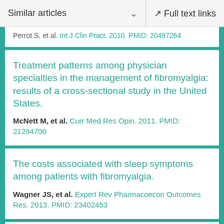Similar articles   Full text links
Perrot S, et al. Int J Clin Pract. 2010. PMID: 20497264
Treatment patterns among physician specialties in the management of fibromyalgia: results of a cross-sectional study in the United States.
McNett M, et al. Curr Med Res Opin. 2011. PMID: 21294700
The costs associated with sleep symptoms among patients with fibromyalgia.
Wagner JS, et al. Expert Rev Pharmacoecon Outcomes Res. 2013. PMID: 23402453
Irritable bowel syndrome in France: quality of life, medical management, and costs: the Encoli